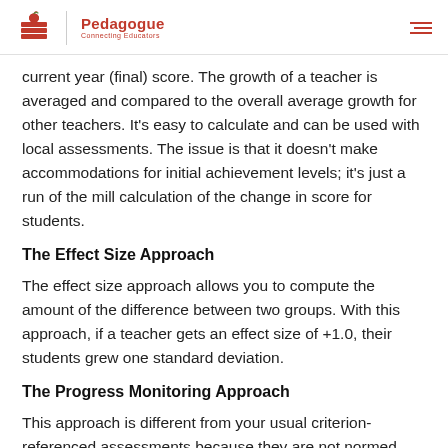Pedagogue — Connecting Educators
current year (final) score. The growth of a teacher is averaged and compared to the overall average growth for other teachers. It's easy to calculate and can be used with local assessments. The issue is that it doesn't make accommodations for initial achievement levels; it's just a run of the mill calculation of the change in score for students.
The Effect Size Approach
The effect size approach allows you to compute the amount of the difference between two groups. With this approach, if a teacher gets an effect size of +1.0, their students grew one standard deviation.
The Progress Monitoring Approach
This approach is different from your usual criterion-referenced assessments because they are not normed